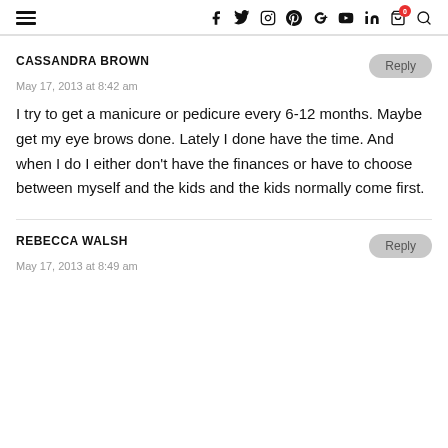Navigation bar with hamburger menu and social/cart icons
CASSANDRA BROWN
May 17, 2013 at 8:42 am
I try to get a manicure or pedicure every 6-12 months. Maybe get my eye brows done. Lately I done have the time. And when I do I either don't have the finances or have to choose between myself and the kids and the kids normally come first.
REBECCA WALSH
May 17, 2013 at 8:49 am